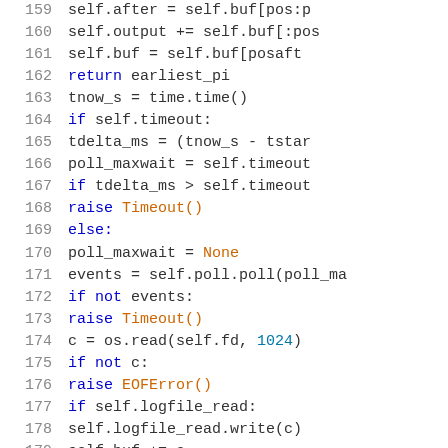[Figure (screenshot): Python source code snippet showing lines 159-180 of a file, with syntax highlighting. Line numbers in gray on left, keywords in blue, function/class names in orange, numeric literals in blue, regular code in black on white background.]